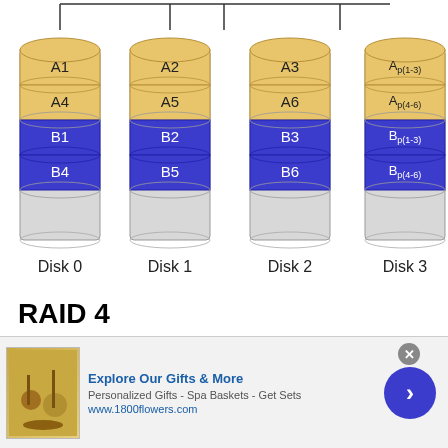[Figure (schematic): RAID diagram showing 4 disk cylinders (Disk 0, Disk 1, Disk 2, Disk 3) connected by lines at top. Each cylinder has colored stripes: gold sections labeled A1, A4 / A2, A5 / A3, A6 / Ap(1-3), Ap(4-6); blue sections labeled B1, B4 / B2, B5 / B3, B6 / Bp(1-3), Bp(4-6); and gray (empty) bottom sections.]
RAID 4
Similar to RAID level 3, this level dedicates a single parity drive, but instead creates larger segments while striping, allowing the